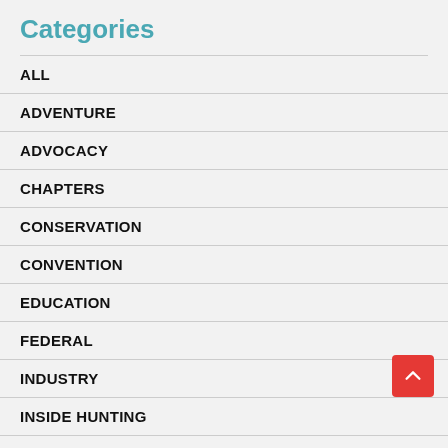Categories
ALL
ADVENTURE
ADVOCACY
CHAPTERS
CONSERVATION
CONVENTION
EDUCATION
FEDERAL
INDUSTRY
INSIDE HUNTING